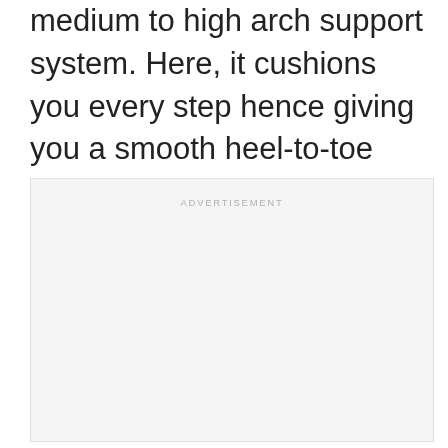medium to high arch support system. Here, it cushions you every step hence giving you a smooth heel-to-toe transition. Besides, its midsection has extra cushioning to suit most athletes.
[Figure (other): Advertisement placeholder box with light gray background and 'ADVERTISEMENT' label at the top center]